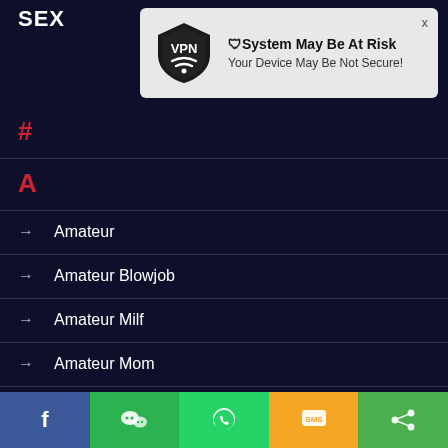SEX
[Figure (screenshot): VPN notification popup: shield logo with 'VPN' text, title 'System May Be At Risk', subtitle 'Your Device May Be Not Secure!']
#
A
Amateur
Amateur Blowjob
Amateur Milf
Amateur Mom
Amateur Teen
[Figure (infographic): Bottom share bar with Facebook, WeChat, WhatsApp, SMS, and share buttons]